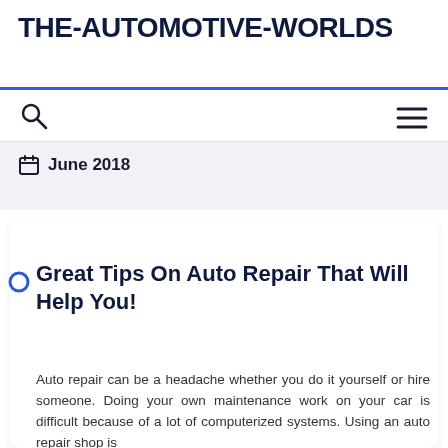THE-AUTOMOTIVE-WORLDS
June 2018
Great Tips On Auto Repair That Will Help You!
Auto repair can be a headache whether you do it yourself or hire someone. Doing your own maintenance work on your car is difficult because of a lot of computerized systems. Using an auto repair shop is